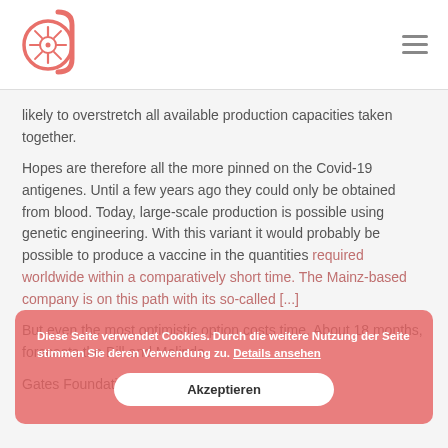[Logo: Jain symbol mark] [Hamburger menu icon]
likely to overstretch all available production capacities taken together.

Hopes are therefore all the more pinned on the Covid-19 antigenes. Until a few years ago they could only be obtained from blood. Today, large-scale production is possible using genetic engineering. With this variant it would probably be possible to produce a vaccine in the quantities required worldwide within a comparatively short time. The Mainz-based company is on this path with its so-called [...]

But even the most optimistic option costs time. About 18 months, forecasts the Bill and Melinda Gates Foundation. Meaning until the end of next
Diese Seite verwendet Cookies. Durch die weitere Nutzung der Seite stimmen Sie deren Verwendung zu. Details ansehen
Akzeptieren